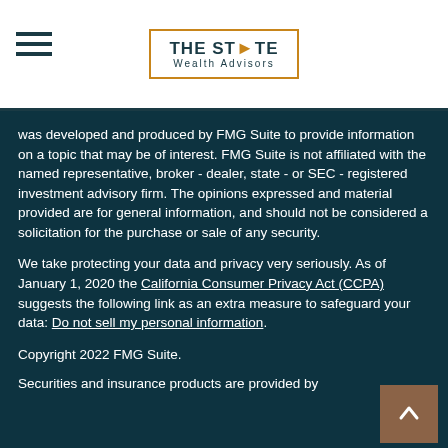[Figure (logo): The State Wealth Advisors logo with orange arrow replacing A in STATE, inside an orange border rectangle]
was developed and produced by FMG Suite to provide information on a topic that may be of interest. FMG Suite is not affiliated with the named representative, broker - dealer, state - or SEC - registered investment advisory firm. The opinions expressed and material provided are for general information, and should not be considered a solicitation for the purchase or sale of any security.
We take protecting your data and privacy very seriously. As of January 1, 2020 the California Consumer Privacy Act (CCPA) suggests the following link as an extra measure to safeguard your data: Do not sell my personal information.
Copyright 2022 FMG Suite.
Securities and insurance products are provided by